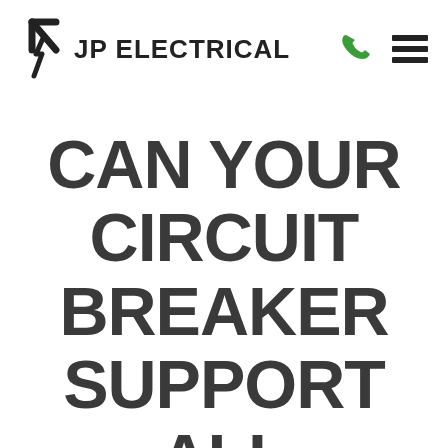[Figure (logo): JP Electrical logo with lightning bolt arrow icon on the left and bold text 'JP ELECTRICAL' on the right, plus a green phone icon and a black hamburger menu icon in the top right]
CAN YOUR CIRCUIT BREAKER SUPPORT ALL OF YOUR